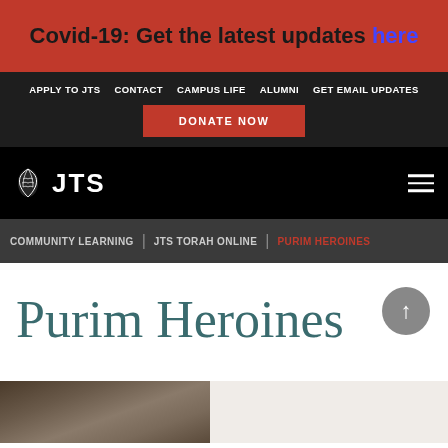Covid-19: Get the latest updates here
APPLY TO JTS  CONTACT  CAMPUS LIFE  ALUMNI  GET EMAIL UPDATES
DONATE NOW
JTS
COMMUNITY LEARNING  JTS TORAH ONLINE  PURIM HEROINES
Purim Heroines
[Figure (photo): Partial view of a person's face/portrait photo at bottom of page]